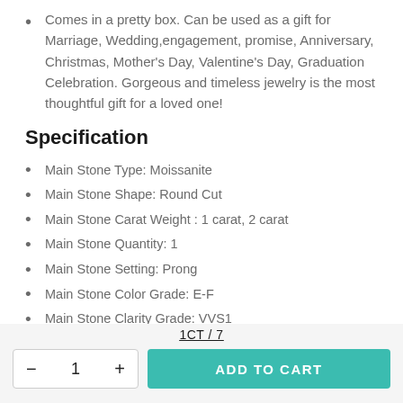Comes in a pretty box. Can be used as a gift for Marriage, Wedding,engagement, promise, Anniversary, Christmas, Mother's Day, Valentine's Day, Graduation Celebration. Gorgeous and timeless jewelry is the most thoughtful gift for a loved one!
Specification
Main Stone Type: Moissanite
Main Stone Shape: Round Cut
Main Stone Carat Weight : 1 carat, 2 carat
Main Stone Quantity: 1
Main Stone Setting: Prong
Main Stone Color Grade: E-F
Main Stone Clarity Grade: VVS1
1CT / 7